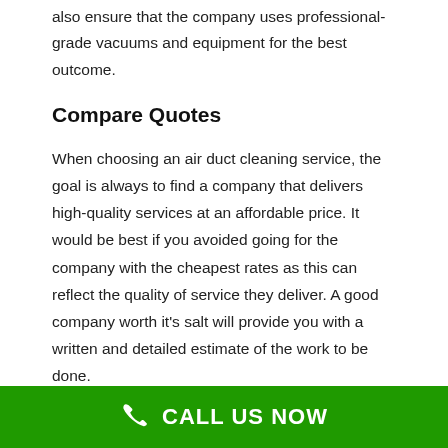also ensure that the company uses professional-grade vacuums and equipment for the best outcome.
Compare Quotes
When choosing an air duct cleaning service, the goal is always to find a company that delivers high-quality services at an affordable price. It would be best if you avoided going for the company with the cheapest rates as this can reflect the quality of service they deliver. A good company worth it's salt will provide you with a written and detailed estimate of the work to be done.
Compare Quotes from Several Air Duct Cleaning Service
CALL US NOW